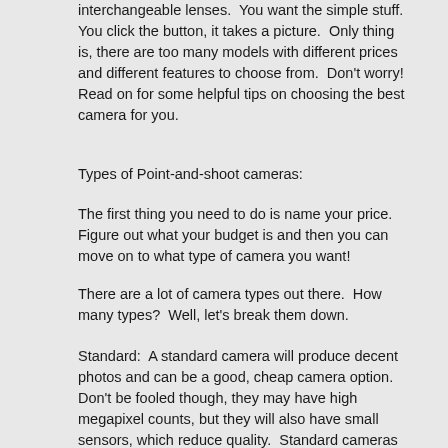interchangeable lenses.  You want the simple stuff.  You click the button, it takes a picture.  Only thing is, there are too many models with different prices and different features to choose from.  Don't worry!  Read on for some helpful tips on choosing the best camera for you.
Types of Point-and-shoot cameras:
The first thing you need to do is name your price.  Figure out what your budget is and then you can move on to what type of camera you want!
There are a lot of camera types out there.  How many types?  Well, let's break them down.
Standard:  A standard camera will produce decent photos and can be a good, cheap camera option.  Don't be fooled though, they may have high megapixel counts, but they will also have small sensors, which reduce quality.  Standard cameras are simple to use because there are not many extra features, which can be either a big flaw or a big